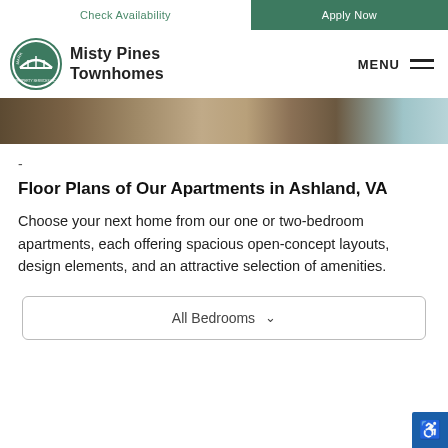Check Availability | Apply Now
[Figure (logo): Landmark Property Services Inc. circular logo with bridge illustration]
Misty Pines Townhomes
[Figure (photo): Interior apartment photo strip showing furniture and decorative pillow]
-
Floor Plans of Our Apartments in Ashland, VA
Choose your next home from our one or two-bedroom apartments, each offering spacious open-concept layouts, design elements, and an attractive selection of amenities.